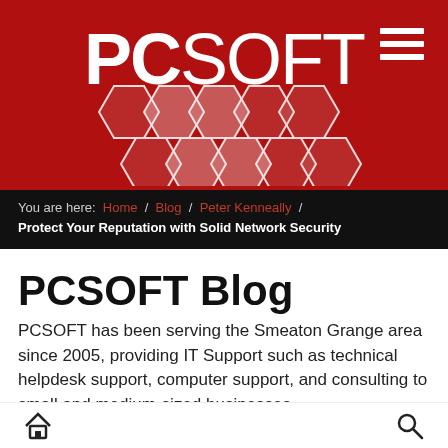[Figure (logo): PCSOFT logo on red background with hexagon/honeycomb pattern decoration]
You are here: Home / Blog / Peter Kenneally / Protect Your Reputation with Solid Network Security
PCSOFT Blog
PCSOFT has been serving the Smeaton Grange area since 2005, providing IT Support such as technical helpdesk support, computer support, and consulting to small and medium-sized businesses.
home icon | search icon